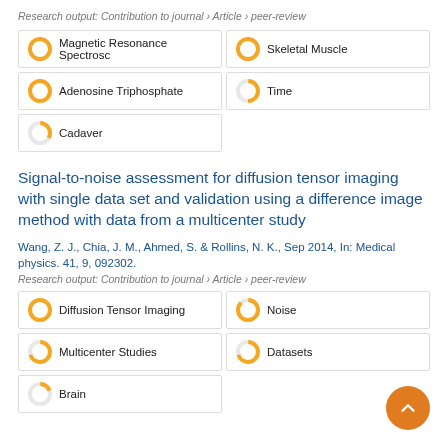Research output: Contribution to journal › Article › peer-review
Magnetic Resonance Spectrosc
Skeletal Muscle
Adenosine Triphosphate
Time
Cadaver
Signal-to-noise assessment for diffusion tensor imaging with single data set and validation using a difference image method with data from a multicenter study
Wang, Z. J., Chia, J. M., Ahmed, S. & Rollins, N. K., Sep 2014, In: Medical physics. 41, 9, 092302.
Research output: Contribution to journal › Article › peer-review
Diffusion Tensor Imaging
Noise
Multicenter Studies
Datasets
Brain